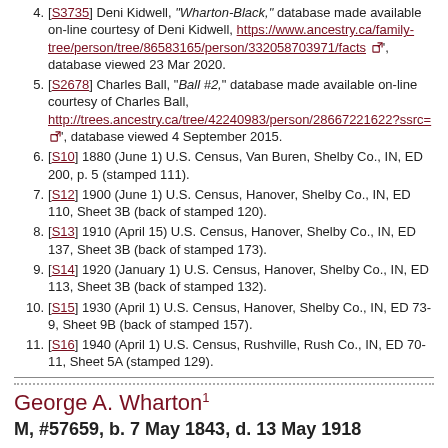4. [S3735] Deni Kidwell, "Wharton-Black," database made available on-line courtesy of Deni Kidwell, https://www.ancestry.ca/family-tree/person/tree/86583165/person/332058703971/facts, database viewed 23 Mar 2020.
5. [S2678] Charles Ball, "Ball #2," database made available on-line courtesy of Charles Ball, http://trees.ancestry.ca/tree/42240983/person/28667221622?ssrc=, database viewed 4 September 2015.
6. [S10] 1880 (June 1) U.S. Census, Van Buren, Shelby Co., IN, ED 200, p. 5 (stamped 111).
7. [S12] 1900 (June 1) U.S. Census, Hanover, Shelby Co., IN, ED 110, Sheet 3B (back of stamped 120).
8. [S13] 1910 (April 15) U.S. Census, Hanover, Shelby Co., IN, ED 137, Sheet 3B (back of stamped 173).
9. [S14] 1920 (January 1) U.S. Census, Hanover, Shelby Co., IN, ED 113, Sheet 3B (back of stamped 132).
10. [S15] 1930 (April 1) U.S. Census, Hanover, Shelby Co., IN, ED 73-9, Sheet 9B (back of stamped 157).
11. [S16] 1940 (April 1) U.S. Census, Rushville, Rush Co., IN, ED 70-11, Sheet 5A (stamped 129).
George A. Wharton
M, #57659, b. 7 May 1843, d. 13 May 1918
Display family
Charts